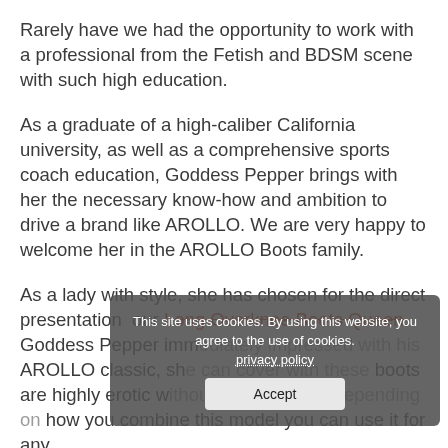Rarely have we had the opportunity to work with a professional from the Fetish and BDSM scene with such high education.
As a graduate of a high-caliber California university, as well as a comprehensive sports coach education, Goddess Pepper brings with her the necessary know-how and ambition to drive a brand like AROLLO. We are very happy to welcome her in the AROLLO Boots family.
As a lady with style, she has chosen for the direct presentation our Long Overknee Boots Queen. Goddess Pepper im... his AROLLO classic, she can cove... These boots are highly erotic without being cheap. Depending on how you combine this model you can use it for any